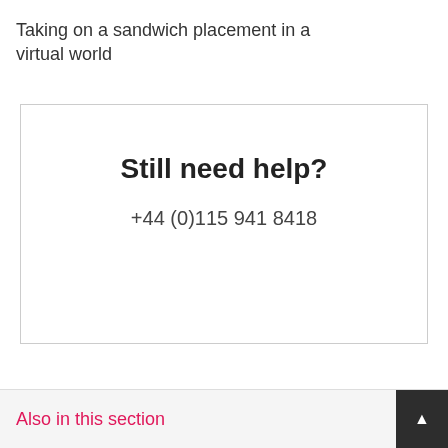Taking on a sandwich placement in a virtual world
Still need help?
+44 (0)115 941 8418
Also in this section